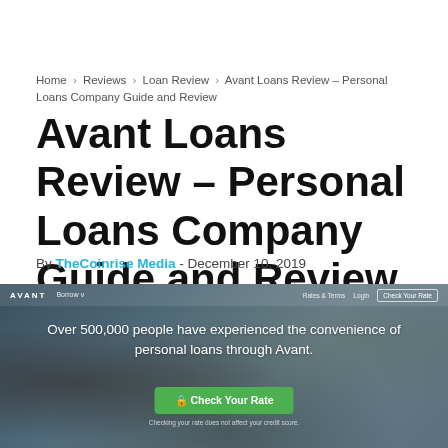Home › Reviews › Loan Review › Avant Loans Review – Personal Loans Company Guide and Review
Avant Loans Review – Personal Loans Company Guide and Review
By TheCoinrise Media - December 10, 2019
[Figure (screenshot): Screenshot of Avant website homepage showing navigation bar with AVANT logo, Borrow, Rates & Terms, Login, Check Your Rate button, and hero section with text 'Over 500,000 people have experienced the convenience of personal loans through Avant.' and a green Check Your Rate button, with a family photo in the background.]